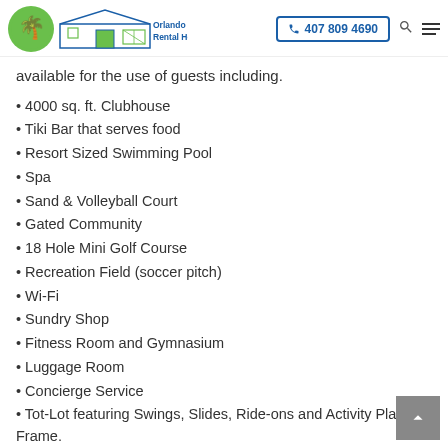Orlando Holiday Rental Homes LLC | 407 809 4690
available for the use of guests including.
4000 sq. ft. Clubhouse
Tiki Bar that serves food
Resort Sized Swimming Pool
Spa
Sand & Volleyball Court
Gated Community
18 Hole Mini Golf Course
Recreation Field (soccer pitch)
Wi-Fi
Sundry Shop
Fitness Room and Gymnasium
Luggage Room
Concierge Service
Tot-Lot featuring Swings, Slides, Ride-ons and Activity Play Frame.
The clubhouse also has a large social area, a games